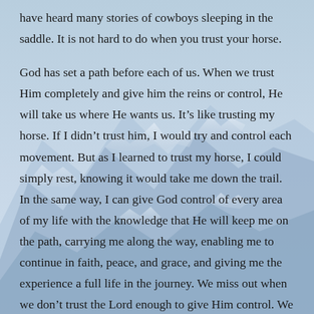have heard many stories of cowboys sleeping in the saddle. It is not hard to do when you trust your horse.
God has set a path before each of us. When we trust Him completely and give him the reins or control, He will take us where He wants us. It’s like trusting my horse. If I didn’t trust him, I would try and control each movement. But as I learned to trust my horse, I could simply rest, knowing it would take me down the trail. In the same way, I can give God control of every area of my life with the knowledge that He will keep me on the path, carrying me along the way, enabling me to continue in faith, peace, and grace, and giving me the experience a full life in the journey. We miss out when we don’t trust the Lord enough to give Him control. We need to learn and grow in our trust of Him.